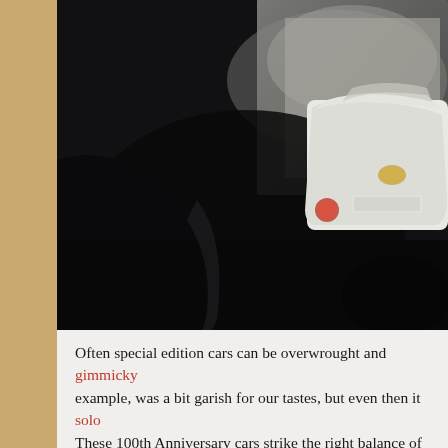[Figure (photo): Dark, moody photograph of a vintage white classic car (rear view) partially lit against a dark background, with a concrete wall visible behind it. The image is heavily shadowed with a dramatic spotlight effect.]
Often special edition cars can be overwrought and gimmicky example, was a bit garish for our tastes, but even then it solo These 100th Anniversary cars strike the right balance of dist